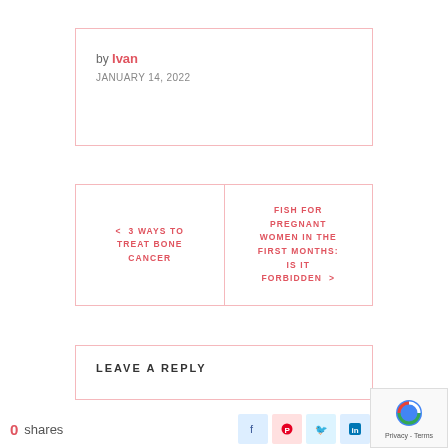by Ivan
JANUARY 14, 2022
< 3 WAYS TO TREAT BONE CANCER
FISH FOR PREGNANT WOMEN IN THE FIRST MONTHS: IS IT FORBIDDEN >
LEAVE A REPLY
0 shares